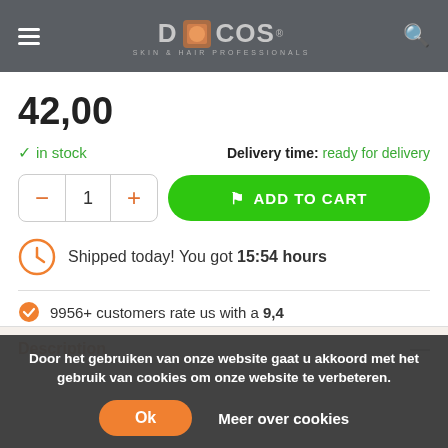Deicos - Skin & Hair Professionals
42,00
in stock   Delivery time: ready for delivery
- 1 +   ADD TO CART
Shipped today! You got 15:54 hours
9956+ customers rate us with a 9,4
SHARE THIS PRODUCT
Description
Door het gebruiken van onze website gaat u akkoord met het gebruik van cookies om onze website te verbeteren.
Ok   Meer over cookies